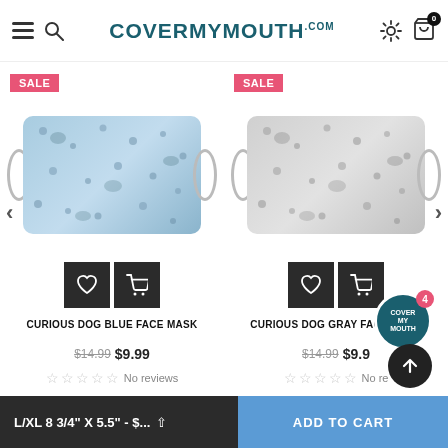CoverMyMouth.com
[Figure (photo): Blue face mask with curious dog pattern, SALE badge]
[Figure (photo): Gray face mask with curious dog pattern, SALE badge]
CURIOUS DOG BLUE FACE MASK
$14.99 $9.99 No reviews
CURIOUS DOG GRAY FACE MASK
$14.99 $9.99 No reviews
L/XL 8 3/4" X 5.5" - $...  ADD TO CART